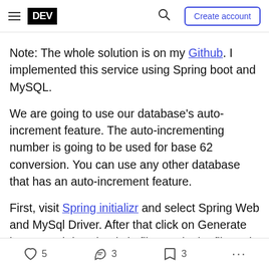DEV | Create account
Note: The whole solution is on my Github. I implemented this service using Spring boot and MySQL.
We are going to use our database's auto-increment feature. The auto-incrementing number is going to be used for base 62 conversion. You can use any other database that has an auto-increment feature.
First, visit Spring initializr and select Spring Web and MySql Driver. After that click on Generate button and download zip file. Unzip the file and open the project in your favorite IDE.
5  3  3  ...